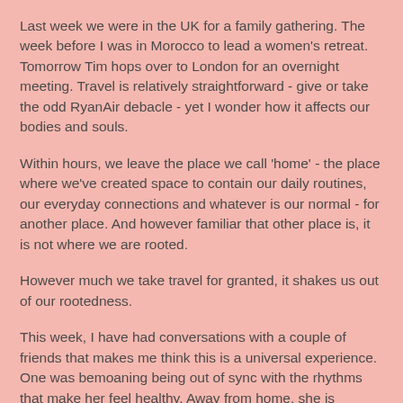Last week we were in the UK for a family gathering. The week before I was in Morocco to lead a women's retreat. Tomorrow Tim hops over to London for an overnight meeting. Travel is relatively straightforward - give or take the odd RyanAir debacle - yet I wonder how it affects our bodies and souls.
Within hours, we leave the place we call 'home' - the place where we've created space to contain our daily routines, our everyday connections and whatever is our normal - for another place. And however familiar that other place is, it is not where we are rooted.
However much we take travel for granted, it shakes us out of our rootedness.
This week, I have had conversations with a couple of friends that makes me think this is a universal experience. One was bemoaning being out of sync with the rhythms that make her feel healthy. Away from home, she is missing the place she's set up for her morning exercises and she wonders why it's harder to stick to healthy food choices. It's funny, but somehow being away from home can give us the mistaken idea that our choices are without consequences, like a sort of 'get out of jail free' card that erases all the fast food and